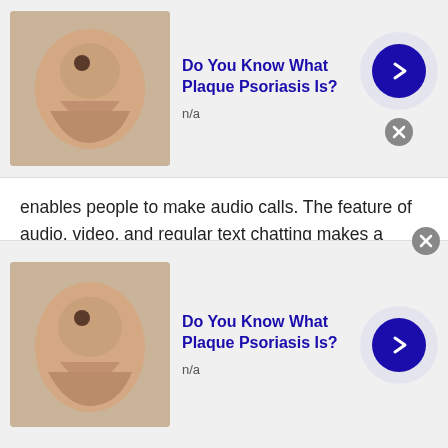[Figure (screenshot): Top advertisement banner: thumbnail image of skin condition, title 'Do You Know What Plaque Psoriasis Is?', n/a label, blue arrow button, close button]
enables people to make audio calls. The feature of audio, video, and regular text chatting makes a Talkwithstranger a unique platform.
2. Multimedia messaging with Thai users:
In the early '20s multimedia messaging used to be a big thing. People who had this technology were rich. In this digital modern, you have a platform like a Talkwithstranger. Through this platform, you ca
[Figure (screenshot): Bottom advertisement banner: thumbnail image of skin condition, title 'Do You Know What Plaque Psoriasis Is?', n/a label, blue arrow button, close button]